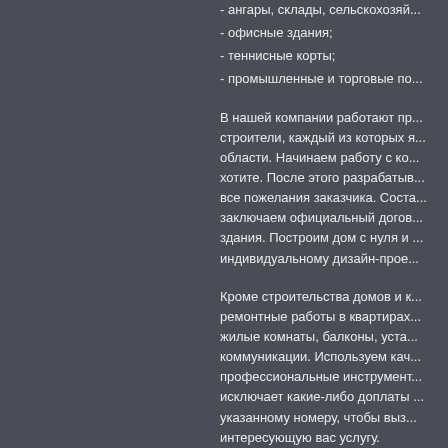- ангары, склады, сельскохозяй...
- офисные здания;
- теннисные корты;
- промышленные и торговые по...
В нашей компании работают пр... строители, каждый из которых я... области. Начинаем работу с ко... хотите. После этого разрабатыв... все пожелания заказчика. Соста... заключаем официальный догов... здания. Построим дом с нуля и ... индивидуальному дизайн-прое...
Кроме строительства домов и к... ремонтные работы в квартирах... жилые комнаты, балконы, уста... коммуникации. Используем кач... профессиональные инструмент... исключает какие-либо доплаты ... указанному номеру, чтобы вызв... интересующую вас услугу.